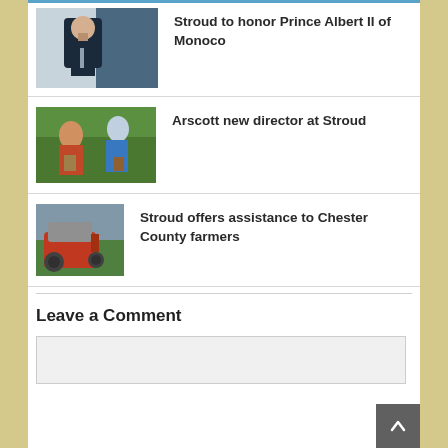[Figure (photo): Man in dark suit with tie, photo thumbnail for news article about Prince Albert II of Monaco]
Stroud to honor Prince Albert II of Monoco
[Figure (photo): Two people harvesting/picking crops in a field, photo thumbnail for news article about Arscott new director at Stroud]
Arscott new director at Stroud
[Figure (photo): Tractor in a field, photo thumbnail for news article about Stroud offering assistance to Chester County farmers]
Stroud offers assistance to Chester County farmers
Leave a Comment